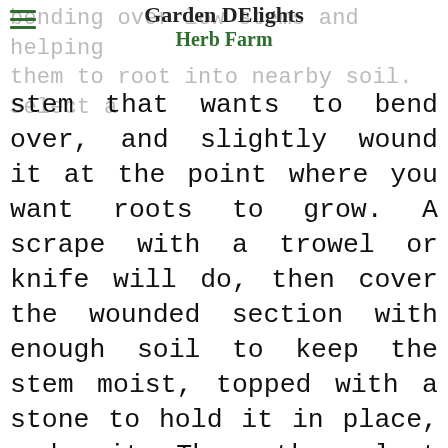Garden DElights
Herb Farm
bending over low stems and helping them to root into nearby soil. Select a stem that wants to bend over, and slightly wound it at the point where you want roots to grow. A scrape with a trowel or knife will do, then cover the wounded section with enough soil to keep the stem moist, topped with a stone to hold it in place, and wait. The mother plant is left undisturbed, and the new plant can be dug when a sound root system has established which could be as early as the next spring.